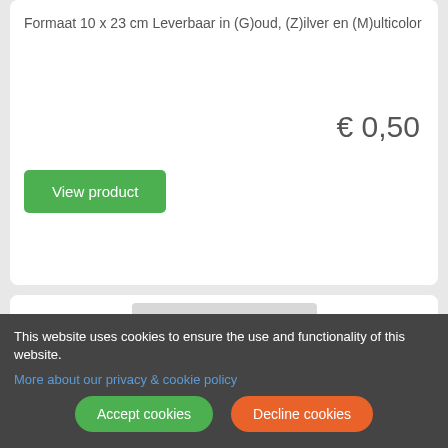Formaat 10 x 23 cm Leverbaar in (G)oud, (Z)ilver en (M)ulticolor
€ 0,50
View product
[Figure (photo): Product image thumbnail showing a card with Dutch text about anniversary/birthday, decorative script style]
This website uses cookies to ensure the use and functionality of this website.
More about our privacy & cookie policy
Accept cookies
Decline cookies